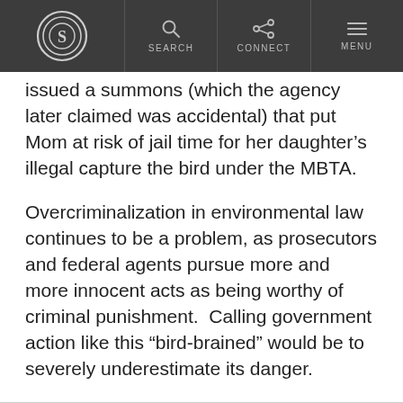S [logo] | SEARCH | CONNECT | MENU
issued a summons (which the agency later claimed was accidental) that put Mom at risk of jail time for her daughter’s illegal capture the bird under the MBTA.
Overcriminalization in environmental law continues to be a problem, as prosecutors and federal agents pursue more and more innocent acts as being worthy of criminal punishment.  Calling government action like this “bird-brained” would be to severely underestimate its danger.